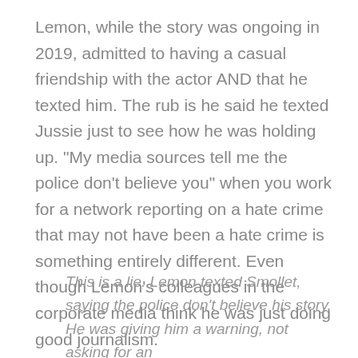Lemon, while the story was ongoing in 2019, admitted to having a casual friendship with the actor AND that he texted him. The rub is he said he texted Jussie just to see how he was holding up. "My media sources tell me the police don't believe you" when you work for a network reporting on a hate crime that may not have been a hate crime is something entirely different. Even though Lemon's colleagues in the corporate media think he was just doing good journalism.
This is a lie. Lemon texted Smollet, saying the police don't believe his story. He was giving him a warning, not asking for an